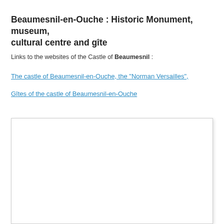Beaumesnil-en-Ouche : Historic Monument, museum, cultural centre and gîte
Links to the websites of the Castle of Beaumesnil :
The castle of Beaumesnil-en-Ouche, the "Norman Versailles",
Gîtes of the castle of Beaumesnil-en-Ouche
[Figure (other): Empty white rectangular image box with light border and shadow]